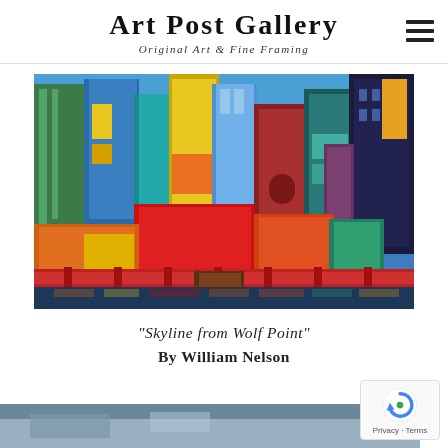Art Post Gallery
Original Art & Fine Framing
[Figure (illustration): Colorful expressionist painting of a city skyline viewed from Wolf Point, featuring vibrant blues, reds, yellows and greens on buildings, a red bridge in the foreground, and reflections on water below.]
“Skyline from Wolf Point”
By William Nelson
[Figure (photo): Partial view of a second artwork at the bottom of the page, mostly cropped.]